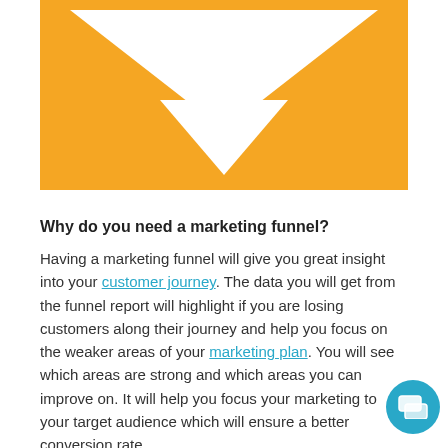[Figure (illustration): Orange rectangle background with two nested downward-pointing triangles forming a funnel/filter shape. Outer triangle is white and inner triangle is also white, creating a funnel icon on orange background.]
Why do you need a marketing funnel?
Having a marketing funnel will give you great insight into your customer journey. The data you will get from the funnel report will highlight if you are losing customers along their journey and help you focus on the weaker areas of your marketing plan. You will see which areas are strong and which areas you can improve on. It will help you focus your marketing to your target audience which will ensure a better conversion rate.